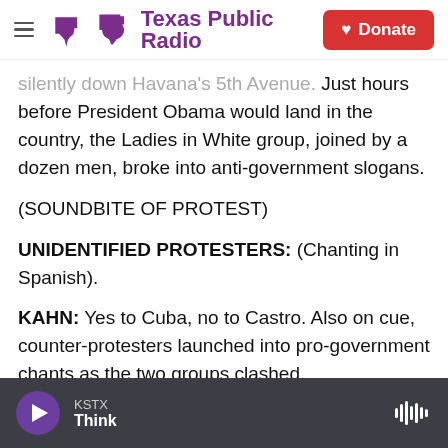Texas Public Radio | Donate
silently down Havana's 5th Avenue. Just hours before President Obama would land in the country, the Ladies in White group, joined by a dozen men, broke into anti-government slogans.
(SOUNDBITE OF PROTEST)
UNIDENTIFIED PROTESTERS: (Chanting in Spanish).
KAHN: Yes to Cuba, no to Castro. Also on cue, counter-protesters launched into pro-government chants as the two groups clashed.
KSTX Think